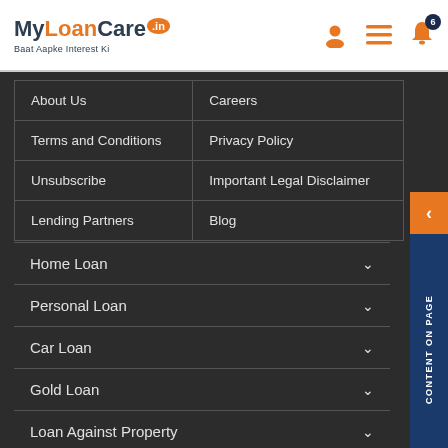[Figure (logo): MyLoanCare.in logo with tagline Baat Aapke Interest Ki]
| About Us | Careers |
| Terms and Conditions | Privacy Policy |
| Unsubscribe | Important Legal Disclaimer |
| Lending Partners | Blog |
Home Loan
Personal Loan
Car Loan
Gold Loan
Loan Against Property
Business Loan